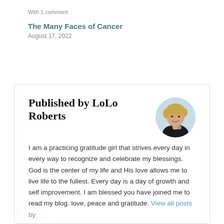With 1 comment
The Many Faces of Cancer
August 17, 2022
Published by LoLo Roberts
[Figure (photo): Circular profile photo of LoLo Roberts, a woman with short blonde hair, smiling, wearing a dark top, with 'lolo' text watermark visible]
I am a practicing gratitude girl that strives every day in every way to recognize and celebrate my blessings. God is the center of my life and His love allows me to live life to the fullest. Every day is a day of growth and self improvement. I am blessed you have joined me to read my blog. love, peace and gratitude. View all posts by